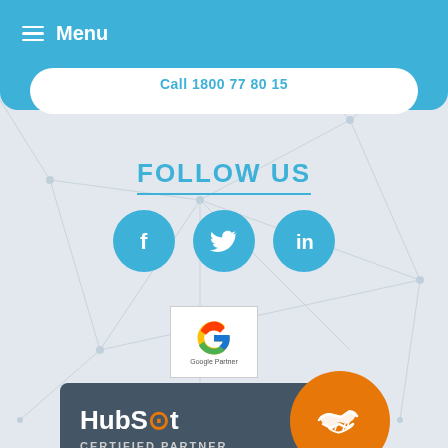Menu
Call 1800 77 80 15
FOLLOW US
[Figure (illustration): Three social media icons (Facebook, Twitter, LinkedIn) as white icons on blue circles]
[Figure (logo): Google Partner badge with Google G logo and 'Google Partner' text]
[Figure (logo): HubSpot Certified Partner badge with dark grey background, HubSpot logo, and orange handshake circle]
STAY UP-TO-DATE